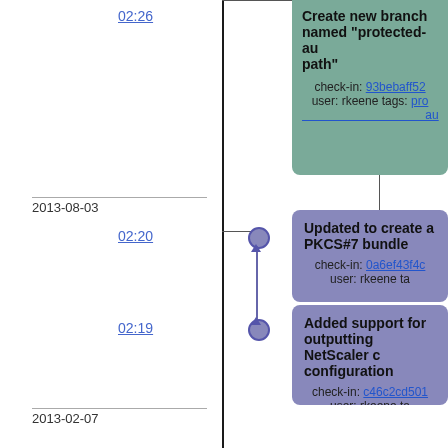02:26
[Figure (other): Version control timeline with commit nodes and branch lines, showing dates 2013-08-03, 2013-02-07, 2013-01-18 with timestamps 02:26, 02:20, 02:19, 23:29, 15:11]
Create new branch named "protected-auth-path"
check-in: 93bebaff52 user: rkeene tags: protected-auth
2013-08-03
02:20
Updated to create a PKCS#7 bundle
check-in: 0a6ef43f4c user: rkeene ta
02:19
Added support for outputting NetScaler configuration
check-in: c46c2cd501 user: rkeene ta
2013-02-07
23:29
Added script to generate certificate bundles in heirarchy order
check-in: 6a49836224 user: rkeene ta
2013-01-18
15:11
Added support for compiling in a default debug log file
check-in: 0e0490e060 user: rkeene tags